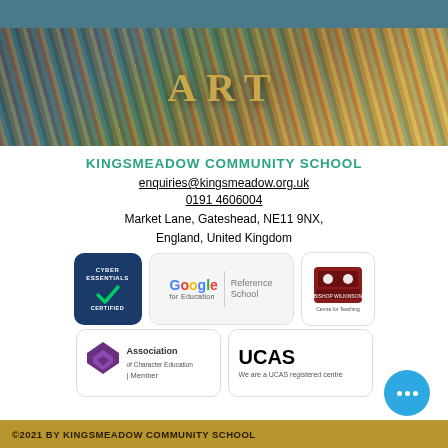[Figure (photo): ART banner image with colorful pencils/stripes background and golden 'ART' text overlay]
KINGSMEADOW COMMUNITY SCHOOL
enquiries@kingsmeadow.org.uk
0191 4606004
Market Lane, Gateshead, NE11 9NX, England, United Kingdom
[Figure (logo): Cyber Essentials Certified badge]
[Figure (logo): Google for Education Reference School badge]
[Figure (logo): Bishop Wilkinson Centre for Teaching logo]
[Figure (logo): Association of Character Education Member badge]
[Figure (logo): UCAS registered centre badge]
©2021 BY KINGSMEADOW COMMUNITY SCHOOL